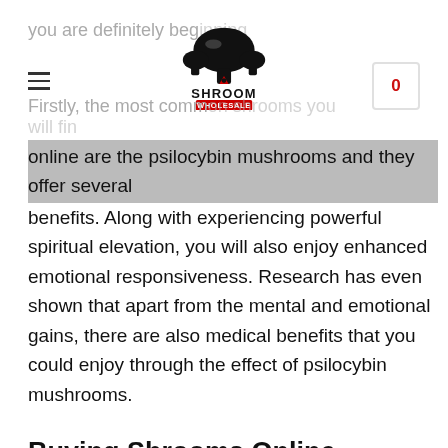Shroom Wholesale – header with logo, hamburger menu, and cart icon
you are definitely beginning the world of magic shrooms. Firstly, the most common shrooms you will find online are the psilocybin mushrooms and they offer several benefits. Along with experiencing powerful spiritual elevation, you will also enjoy enhanced emotional responsiveness. Research has even shown that apart from the mental and emotional gains, there are also medical benefits that you could enjoy through the effect of psilocybin mushrooms.
Buying Shrooms Online
Having told you what you will enjoy after taking the magic mushrooms, now find out what you seek to gain by buying the shrooms online. The security you get in buying your products from a certified online seller is the biggest advantage of you buying magic mushrooms online. Buying